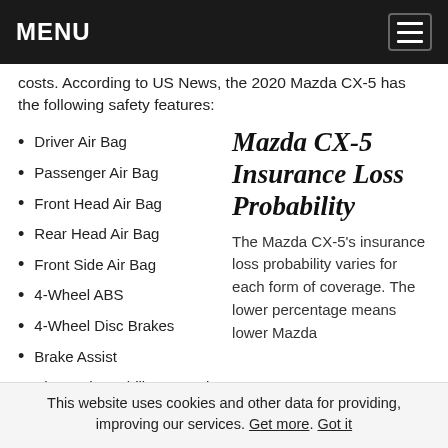MENU
costs. According to US News, the 2020 Mazda CX-5 has the following safety features:
Driver Air Bag
Passenger Air Bag
Front Head Air Bag
Rear Head Air Bag
Front Side Air Bag
4-Wheel ABS
4-Wheel Disc Brakes
Brake Assist
Electronic Stability Control
Daytime Running Lights
Child Safety Locks
Mazda CX-5 Insurance Loss Probability
The Mazda CX-5's insurance loss probability varies for each form of coverage. The lower percentage means lower Mazda
This website uses cookies and other data for providing, improving our services. Get more. Got it